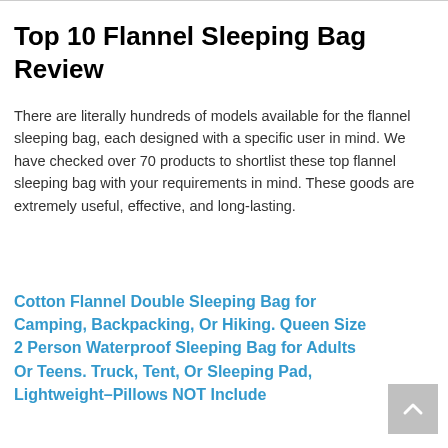Top 10 Flannel Sleeping Bag Review
There are literally hundreds of models available for the flannel sleeping bag, each designed with a specific user in mind. We have checked over 70 products to shortlist these top flannel sleeping bag with your requirements in mind. These goods are extremely useful, effective, and long-lasting.
Cotton Flannel Double Sleeping Bag for Camping, Backpacking, Or Hiking. Queen Size 2 Person Waterproof Sleeping Bag for Adults Or Teens. Truck, Tent, Or Sleeping Pad, Lightweight–Pillows NOT Include